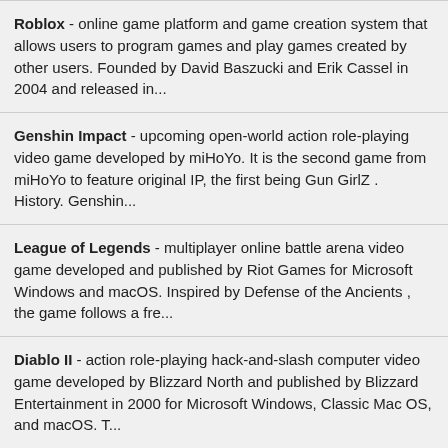Roblox - online game platform and game creation system that allows users to program games and play games created by other users. Founded by David Baszucki and Erik Cassel in 2004 and released in...
Genshin Impact - upcoming open-world action role-playing video game developed by miHoYo. It is the second game from miHoYo to feature original IP, the first being Gun GirlZ . History. Genshin...
League of Legends - multiplayer online battle arena video game developed and published by Riot Games for Microsoft Windows and macOS. Inspired by Defense of the Ancients , the game follows a fre...
Diablo II - action role-playing hack-and-slash computer video game developed by Blizzard North and published by Blizzard Entertainment in 2000 for Microsoft Windows, Classic Mac OS, and macOS. T...
Grand Theft Auto V - 2013 action-adventure game developed by Rockstar North and published by Rockstar Games. It is the first